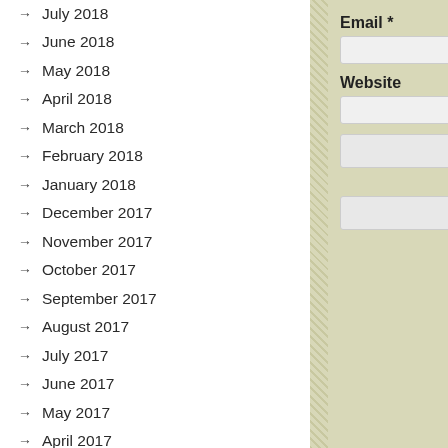July 2018
June 2018
May 2018
April 2018
March 2018
February 2018
January 2018
December 2017
November 2017
October 2017
September 2017
August 2017
July 2017
June 2017
May 2017
April 2017
March 2017
February 2017
January 2017
December 2016
November 2016
October 2016
Email *
Website